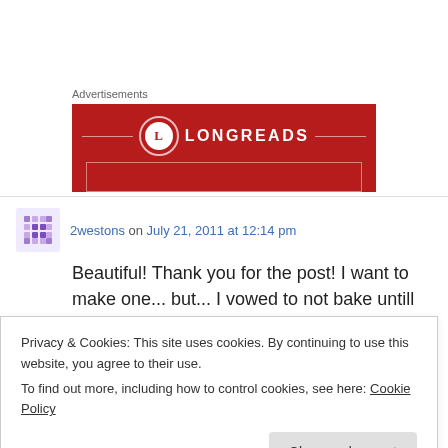Advertisements
[Figure (logo): Longreads advertisement banner — red background with circular L logo and LONGREADS text in white, with decorative horizontal lines on either side]
2westons on July 21, 2011 at 12:14 pm
Beautiful! Thank you for the post! I want to make one... but... I vowed to not bake untill Winter
Privacy & Cookies: This site uses cookies. By continuing to use this website, you agree to their use.
To find out more, including how to control cookies, see here: Cookie Policy
Close and accept